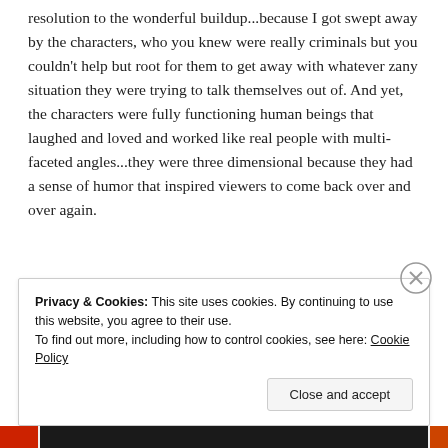resolution to the wonderful buildup...because I got swept away by the characters, who you knew were really criminals but you couldn't help but root for them to get away with whatever zany situation they were trying to talk themselves out of. And yet, the characters were fully functioning human beings that laughed and loved and worked like real people with multi-faceted angles...they were three dimensional because they had a sense of humor that inspired viewers to come back over and over again.
Privacy & Cookies: This site uses cookies. By continuing to use this website, you agree to their use.
To find out more, including how to control cookies, see here: Cookie Policy
Close and accept